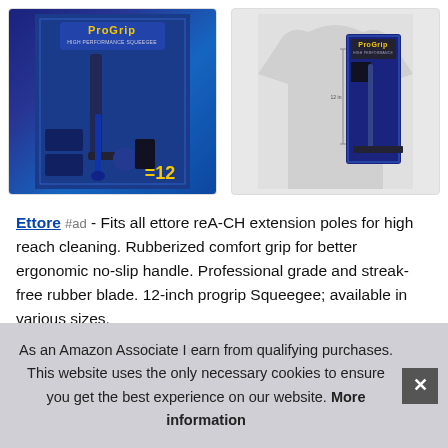[Figure (photo): Two product images of ProGrip squeegee: left image shows the product packaging with blue background and the number 12, right image shows the product packaging against a t-shirt/mannequin background]
Ettore #ad - Fits all ettore reA-CH extension poles for high reach cleaning. Rubberized comfort grip for better ergonomic no-slip handle. Professional grade and streak-free rubber blade. 12-inch progrip Squeegee; available in various sizes.
More information #ad
As an Amazon Associate I earn from qualifying purchases. This website uses the only necessary cookies to ensure you get the best experience on our website. More information